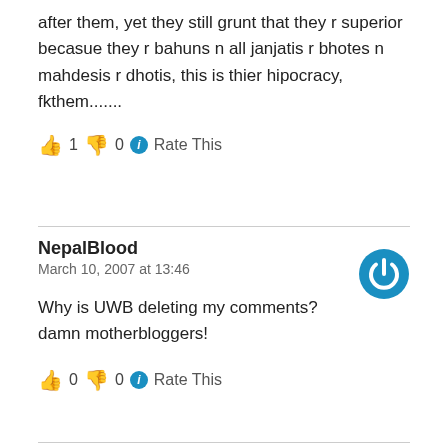after them, yet they still grunt that they r superior becasue they r bahuns n all janjatis r bhotes n mahdesis r dhotis, this is thier hipocracy, fkthem.......
👍 1 👎 0 ℹ Rate This
NepalBlood
March 10, 2007 at 13:46
Why is UWB deleting my comments?
damn motherbloggers!
👍 0 👎 0 ℹ Rate This